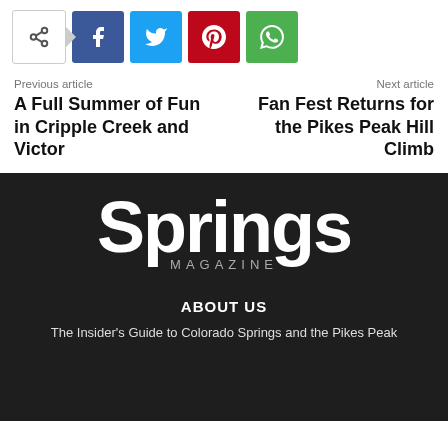[Figure (other): Social share bar with a share button (with arrow), Facebook button, Twitter button, Pinterest button, and WhatsApp button]
Previous article
A Full Summer of Fun in Cripple Creek and Victor
Next article
Fan Fest Returns for the Pikes Peak Hill Climb
[Figure (logo): Springs Magazine logo — large white 'Springs' text with mountain icon inside the letter 'g', and 'MAGAZINE' in spaced gray letters below]
ABOUT US
The Insider's Guide to Colorado Springs and the Pikes Peak